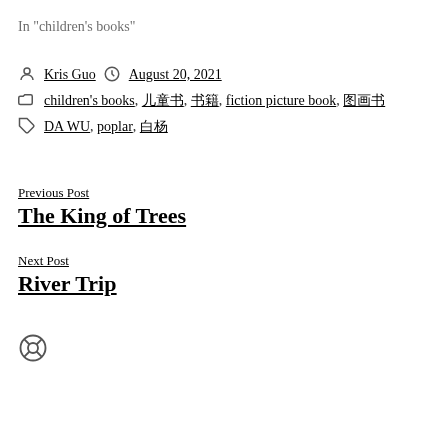In "children's books"
By Kris Guo  August 20, 2021
children's books, 儿童书, 书籍, fiction picture book, 图画书
DA WU, poplar, 白杨
Previous Post
The King of Trees
Next Post
River Trip